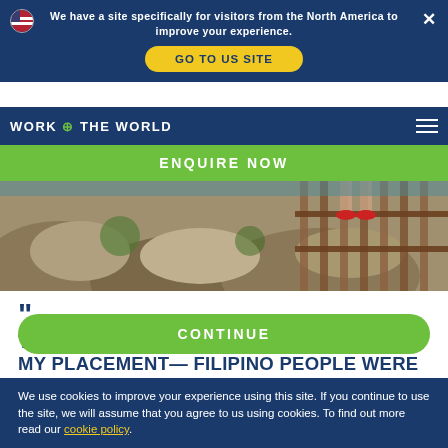We have a site specifically for visitors from the North America to improve your experience.
GO TO US SITE
ENQUIRE NOW
[Figure (photo): Outdoor photo showing rocky ground with people's legs/feet in sandals visible on a wooden walkway or bridge]
"
THE HOSPITAL STAFF WERE WHAT MADE MY PLACEMENT— FILIPINO PEOPLE WERE GENUINELY SOME OF THE HAPPIEST PEOPLE ON THE PLANET
CONTINUE
We use cookies to improve your experience using this site. If you continue to use the site, we will assume that you agree to us using cookies. To find out more read our cookie policy.